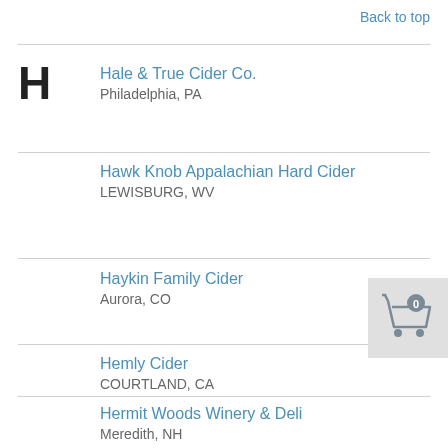Back to top
H
Hale & True Cider Co.
Philadelphia, PA
Hawk Knob Appalachian Hard Cider
LEWISBURG, WV
Haykin Family Cider
Aurora, CO
Hemly Cider
COURTLAND, CA
Hermit Woods Winery & Deli
Meredith, NH